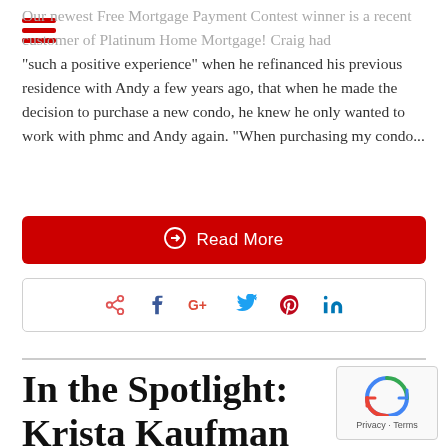Our newest Free Mortgage Payment Contest winner is a recent customer of Platinum Home Mortgage! Craig had “such a positive experience” when he refinanced his previous residence with Andy a few years ago, that when he made the decision to purchase a new condo, he knew he only wanted to work with phmc and Andy again. “When purchasing my condo...
Read More
[Figure (infographic): Social sharing bar with share, Facebook, Google+, Twitter, Pinterest, and LinkedIn icons]
In the Spotlight: Krista Kaufman
[Figure (infographic): reCAPTCHA Privacy Terms widget in bottom right corner]